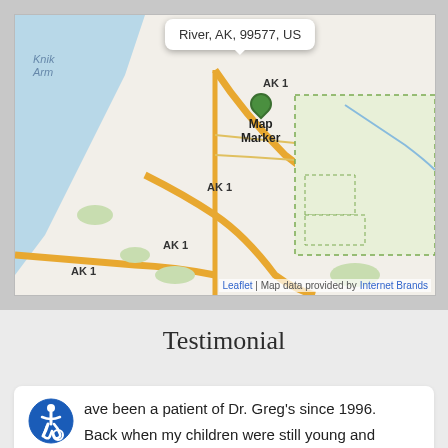[Figure (map): Leaflet map showing Eagle River, AK, 99577 area with a map marker and AK 1 highway labels. Popup shows 'River, AK, 99577, US'. Attribution: Leaflet | Map data provided by Internet Brands.]
Testimonial
ave been a patient of Dr. Greg's since 1996.
Back when my children were still young and